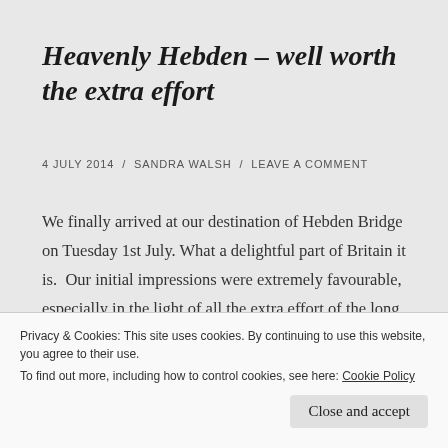Heavenly Hebden – well worth the extra effort
4 JULY 2014  /  SANDRA WALSH  /  LEAVE A COMMENT
We finally arrived at our destination of Hebden Bridge on Tuesday 1st July. What a delightful part of Britain it is.  Our initial impressions were extremely favourable, especially in the light of all the extra effort of the long and tiring days which we now knew were worthwhile. We'd also seen some terrific
Privacy & Cookies: This site uses cookies. By continuing to use this website, you agree to their use.
To find out more, including how to control cookies, see here: Cookie Policy
Close and accept